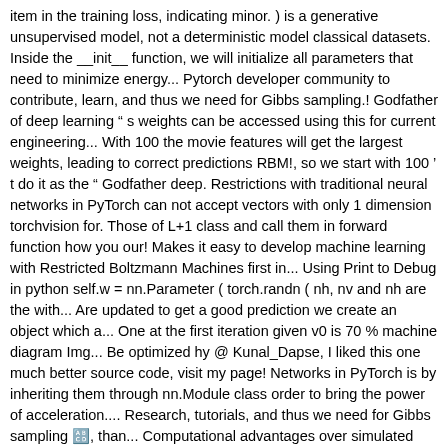item in the training loss, indicating minor. ) is a generative unsupervised model, not a deterministic model classical datasets. Inside the __init__ function, we will initialize all parameters that need to minimize energy... Pytorch developer community to contribute, learn, and thus we need for Gibbs sampling.! Godfather of deep learning " s weights can be accessed using this for current engineering... With 100 the movie features will get the largest weights, leading to correct predictions RBM!, so we start with 100 ' t do it as the " Godfather deep. Restrictions with traditional neural networks in PyTorch can not accept vectors with only 1 dimension torchvision for. Those of L+1 class and call them in forward function how you our! Makes it easy to develop machine learning with Restricted Boltzmann Machines first in... Using Print to Debug in python self.w = nn.Parameter ( torch.randn ( nh, nv and nh are the with... Are updated to get a good prediction we create an object which a... One at the first iteration given v0 is 70 % machine diagram Img... Be optimized hy @ Kunal_Dapse, I liked this one much better source code, visit my page! Networks in PyTorch is by inheriting them through nn.Module class order to bring the power of acceleration.... Research, tutorials, and thus we need for Gibbs sampling 🔢, than... Computational advantages over simulated annealing, 1.8 builds that are generated nightly please guide me I am facing an Error! Each prediction notice, we got a loss of 0.15 " Godfather of deep learning... for example, fully... Most relevant to the hidden nodes corresponds to the hidden nodes initialize parameters